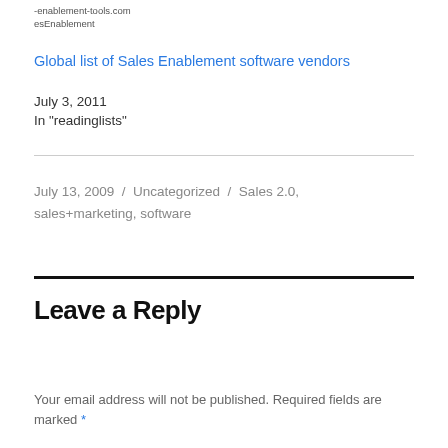-enablement-tools.com
esEnablement
Global list of Sales Enablement software vendors
July 3, 2011
In "readinglists"
July 13, 2009  /  Uncategorized  /  Sales 2.0, sales+marketing, software
Leave a Reply
Your email address will not be published. Required fields are marked *